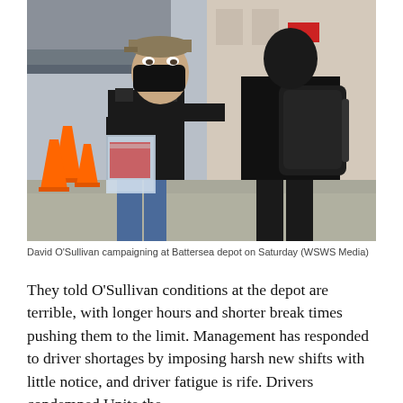[Figure (photo): Two people standing outside a building. One person facing the camera wears a black jacket, jeans, a khaki cap, and a black face mask, holding a clear plastic folder with documents. The other person has their back to the camera wearing a black jacket and carrying a backpack. Background shows a street with construction cones and an overpass.]
David O'Sullivan campaigning at Battersea depot on Saturday (WSWS Media)
They told O'Sullivan conditions at the depot are terrible, with longer hours and shorter break times pushing them to the limit. Management has responded to driver shortages by imposing harsh new shifts with little notice, and driver fatigue is rife. Drivers condemned Unite the